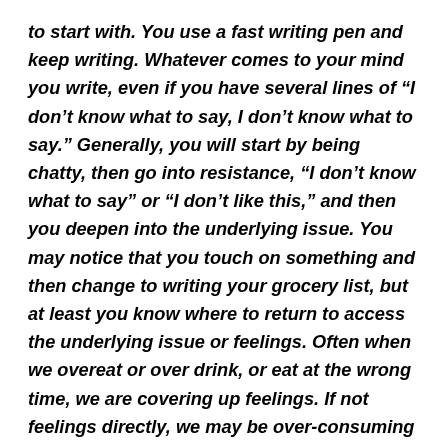to start with. You use a fast writing pen and keep writing. Whatever comes to your mind you write, even if you have several lines of “I don’t know what to say, I don’t know what to say.” Generally, you will start by being chatty, then go into resistance, “I don’t know what to say” or “I don’t like this,” and then you deepen into the underlying issue. You may notice that you touch on something and then change to writing your grocery list, but at least you know where to return to access the underlying issue or feelings. Often when we overeat or over drink, or eat at the wrong time, we are covering up feelings. If not feelings directly, we may be over-consuming to manage the stress from all the activity we do to bury the feelings.
In my book 12 Weeks to Self-Healing: Transforming